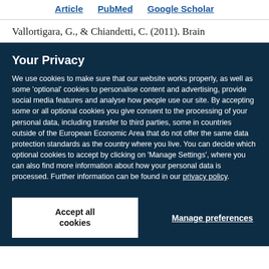Article   PubMed   Google Scholar
Vallortigara, G., & Chiandetti, C. (2011). Brain
Your Privacy
We use cookies to make sure that our website works properly, as well as some 'optional' cookies to personalise content and advertising, provide social media features and analyse how people use our site. By accepting some or all optional cookies you give consent to the processing of your personal data, including transfer to third parties, some in countries outside of the European Economic Area that do not offer the same data protection standards as the country where you live. You can decide which optional cookies to accept by clicking on 'Manage Settings', where you can also find more information about how your personal data is processed. Further information can be found in our privacy policy.
Accept all cookies
Manage preferences